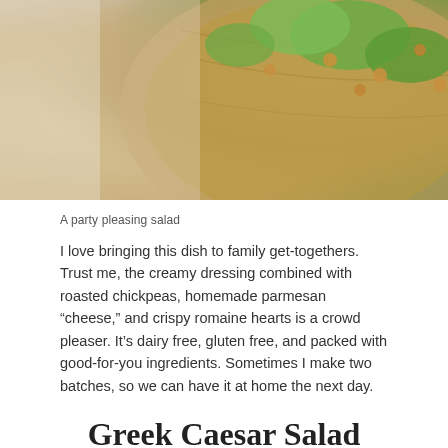[Figure (photo): Overhead photo of a wooden bowl with salad containing green romaine lettuce and roasted chickpeas]
A party pleasing salad
I love bringing this dish to family get-togethers. Trust me, the creamy dressing combined with roasted chickpeas, homemade parmesan “cheese,” and crispy romaine hearts is a crowd pleaser. It’s dairy free, gluten free, and packed with good-for-you ingredients. Sometimes I make two batches, so we can have it at home the next day.
Greek Caesar Salad
Yield: 6-8 servings  Prep Time: 15 minutes  Bake time: 30 minutes